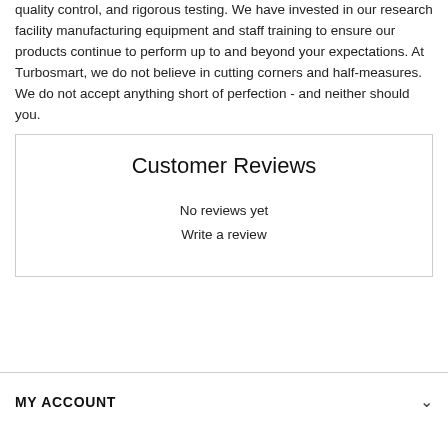quality control, and rigorous testing. We have invested in our research facility manufacturing equipment and staff training to ensure our products continue to perform up to and beyond your expectations. At Turbosmart, we do not believe in cutting corners and half-measures. We do not accept anything short of perfection - and neither should you.
Customer Reviews
No reviews yet
Write a review
MY ACCOUNT